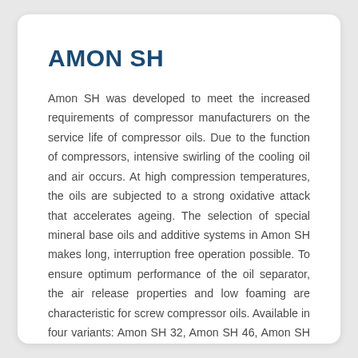AMON SH
Amon SH was developed to meet the increased requirements of compressor manufacturers on the service life of compressor oils. Due to the function of compressors, intensive swirling of the cooling oil and air occurs. At high compression temperatures, the oils are subjected to a strong oxidative attack that accelerates ageing. The selection of special mineral base oils and additive systems in Amon SH makes long, interruption free operation possible. To ensure optimum performance of the oil separator, the air release properties and low foaming are characteristic for screw compressor oils. Available in four variants: Amon SH 32, Amon SH 46, Amon SH 68, and Amon SH 100.